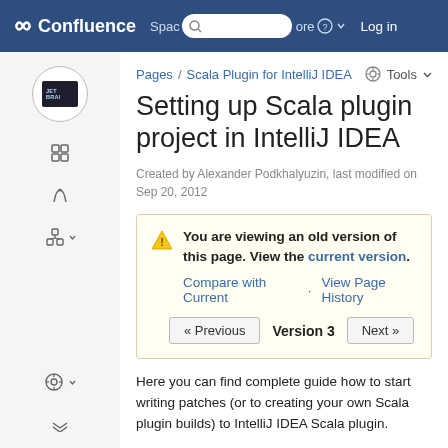Confluence — Spaces / More / Log in
Pages / Scala Plugin for IntelliJ IDEA   Tools ▼
Setting up Scala plugin project in IntelliJ IDEA
Created by Alexander Podkhalyuzin, last modified on Sep 20, 2012
You are viewing an old version of this page. View the current version. Compare with Current · View Page History « Previous Version 3 Next »
Here you can find complete guide how to start writing patches (or to creating your own Scala plugin builds) to IntelliJ IDEA Scala plugin.